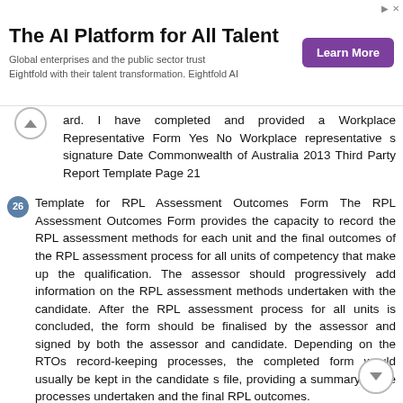[Figure (screenshot): Advertisement banner: 'The AI Platform for All Talent' with subtitle 'Global enterprises and the public sector trust Eightfold with their talent transformation. Eightfold AI' and a purple 'Learn More' button.]
ard. I have completed and provided a Workplace Representative Form Yes No Workplace representative s signature Date Commonwealth of Australia 2013 Third Party Report Template Page 21
26 Template for RPL Assessment Outcomes Form The RPL Assessment Outcomes Form provides the capacity to record the RPL assessment methods for each unit and the final outcomes of the RPL assessment process for all units of competency that make up the qualification. The assessor should progressively add information on the RPL assessment methods undertaken with the candidate. After the RPL assessment process for all units is concluded, the form should be finalised by the assessor and signed by both the assessor and candidate. Depending on the RTOs record-keeping processes, the completed form would usually be kept in the candidate s file, providing a summary of the processes undertaken and the final RPL outcomes.